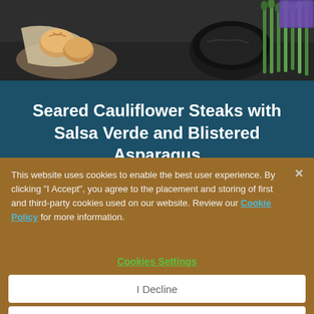[Figure (photo): Food photography strip showing bread rolls in a basket with a cloth napkin on the left, and green asparagus spears next to a dark bowl on the right, against a dark background.]
Seared Cauliflower Steaks with Salsa Verde and Blistered Asparagus
Let's Make It
This website uses cookies to enable the best user experience. By clicking "I Accept", you agree to the placement and storing of first and third-party cookies used on our website. Review our Cookie Policy for more information.
Cookies Settings
I Decline
I Accept